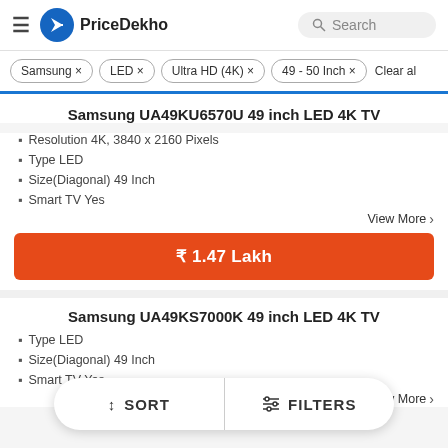PriceDekho
Samsung ×
LED ×
Ultra HD (4K) ×
49 - 50 Inch ×
Clear all
Samsung UA49KU6570U 49 inch LED 4K TV
Resolution 4K, 3840 x 2160 Pixels
Type LED
Size(Diagonal) 49 Inch
Smart TV Yes
View More
₹ 1.47 Lakh
Samsung UA49KS7000K 49 inch LED 4K TV
Type LED
Size(Diagonal) 49 Inch
Smart TV Yes
View More
↕ SORT   ⫶ FILTERS